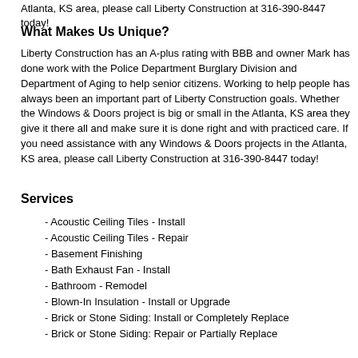Atlanta, KS area, please call Liberty Construction at 316-390-8447 today!
What Makes Us Unique?
Liberty Construction has an A-plus rating with BBB and owner Mark has done work with the Police Department Burglary Division and Department of Aging to help senior citizens. Working to help people has always been an important part of Liberty Construction goals. Whether the Windows & Doors project is big or small in the Atlanta, KS area they give it there all and make sure it is done right and with practiced care. If you need assistance with any Windows & Doors projects in the Atlanta, KS area, please call Liberty Construction at 316-390-8447 today!
Services
- Acoustic Ceiling Tiles - Install
- Acoustic Ceiling Tiles - Repair
- Basement Finishing
- Bath Exhaust Fan - Install
- Bathroom - Remodel
- Blown-In Insulation - Install or Upgrade
- Brick or Stone Siding: Install or Completely Replace
- Brick or Stone Siding: Repair or Partially Replace